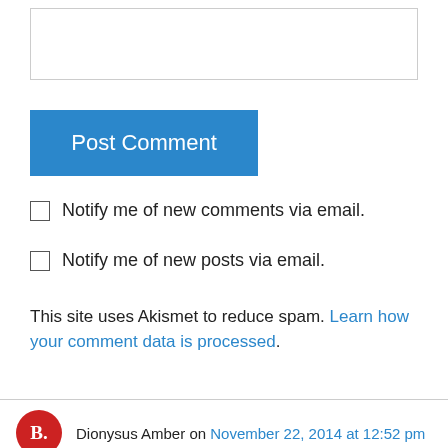[text input box]
Post Comment
Notify me of new comments via email.
Notify me of new posts via email.
This site uses Akismet to reduce spam. Learn how your comment data is processed.
Dionysus Amber on November 22, 2014 at 12:52 pm
Reblogged this on Orca Freedom Fighters.
Like
Reply